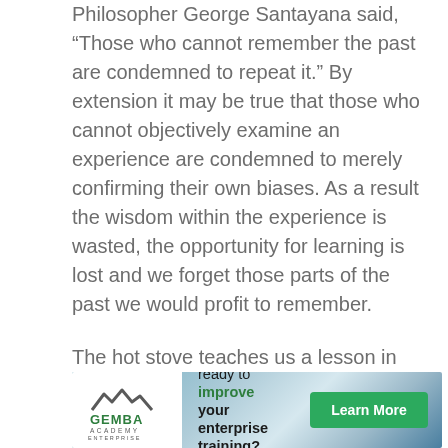Philosopher George Santayana said, “Those who cannot remember the past are condemned to repeat it.” By extension it may be true that those who cannot objectively examine an experience are condemned to merely confirming their own biases. As a result the wisdom within the experience is wasted, the opportunity for learning is lost and we forget those parts of the past we would profit to remember.
The hot stove teaches us a lesson in “hot” but sometimes we misconstrue it as a lesson in “stove”.
[Figure (infographic): Gemba Academy Enterprise advertisement banner. White logo area on left with Gemba Academy Enterprise logo (mountain/wave icon). Center text: 'ready to improve your enterprise training?' with 'improve' in green. Right side: green 'Learn More' button on teal/blue gradient background.]